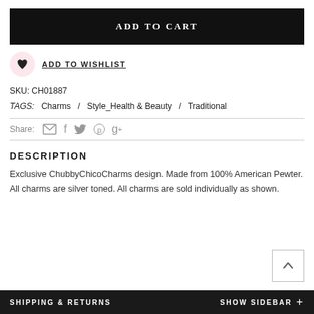ADD TO CART
ADD TO WISHLIST
SKU: CH01887
TAGS:  Charms  /  Style_Health & Beauty  /  Traditional
Share:
DESCRIPTION
Exclusive ChubbyChicoCharms design. Made from 100% American Pewter. All charms are silver toned. All charms are sold individually as shown.
SHIPPING & RETURNS   SHOW SIDEBAR  +